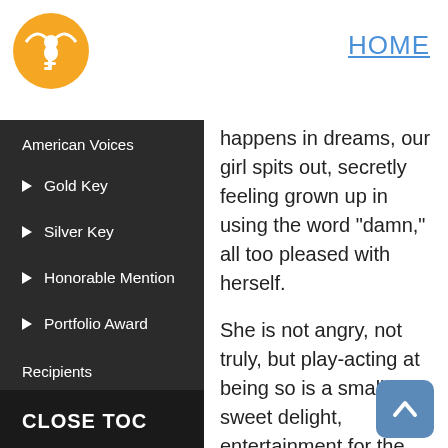[Figure (logo): Scholastic Art & Writing Awards logo: orange circle with white winged figure]
HOME
American Voices
Gold Key
Silver Key
Honorable Mention
Portfolio Award
Recipients
happens in dreams, our girl spits out, secretly feeling grown up in using the word "damn," all too pleased with herself.
She is not angry, not truly, but play-acting at being so is a small sweet delight, entertainment for the moment. As she wipes the water out of her eyes, blinking again and again in the hopes that eventually her eyes will acclimate to the light, our girl is conscious her friend materializing a
CLOSE TOC